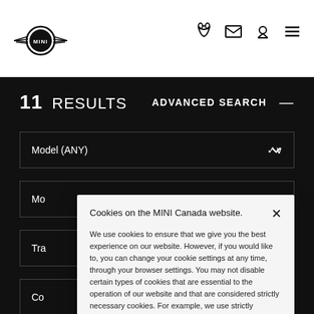[Figure (logo): MINI brand logo with wings]
11 RESULTS
ADVANCED SEARCH —
Model (ANY)
Mo
Tra
Co
Cookies on the MINI Canada website. We use cookies to ensure that we give you the best experience on our website. However, if you would like to, you can change your cookie settings at any time, through your browser settings. You may not disable certain types of cookies that are essential to the operation of our website and that are considered strictly necessary cookies. For example, we use strictly necessary cookies to provide you with regional pricing information. You can find detailed information about how cookies are used on this website by clicking here.